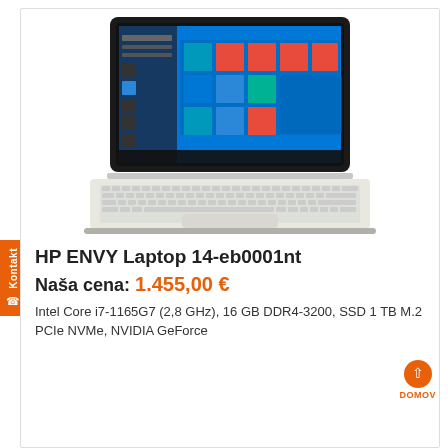[Figure (photo): HP ENVY Laptop 14-eb0001nt shown open with Windows 10 Start Menu visible on screen, silver body with white keyboard]
HP ENVY Laptop 14-eb0001nt
Naša cena: 1.455,00 €
Intel Core i7-1165G7 (2,8 GHz), 16 GB DDR4-3200, SSD 1 TB M.2 PCIe NVMe, NVIDIA GeForce